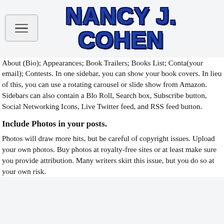[Figure (logo): Nancy J. Cohen logo in bold blue text with dark outline]
About (Bio); Appearances; Book Trailers; Books List; Contact (your email); Contests. In one sidebar, you can show your book covers. In lieu of this, you can use a rotating carousel or slide show from Amazon. Sidebars can also contain a Blog Roll, Search box, Subscribe button, Social Networking Icons, Live Twitter feed, and RSS feed button.
Include Photos in your posts.
Photos will draw more hits, but be careful of copyright issues. Upload your own photos. Buy photos at royalty-free sites or at least make sure you provide attribution. Many writers skirt this issue, but you do so at your own risk.